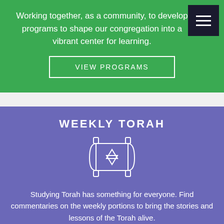Working together, as a community, to develop programs to shape our congregation into a vibrant center for learning.
VIEW PROGRAMS
WEEKLY TORAH
[Figure (illustration): Torah scroll icon with Star of David in white outline style]
Studying Torah has something for everyone. Find commentaries on the weekly portions to bring the stories and lessons of the Torah alive.